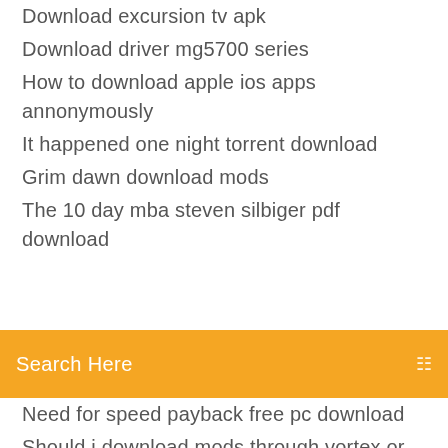Download excursion tv apk
Download driver mg5700 series
How to download apple ios apps annonymously
It happened one night torrent download
Grim dawn download mods
The 10 day mba steven silbiger pdf download
[Figure (screenshot): Orange search bar with 'Search Here' placeholder text and a menu icon on the right]
Need for speed payback free pc download
Should i download mods through vortex or manual
American horror story 1984 s09e2 torrent download
Pirate of the sangentiss full video mp4 download
Minecraft for pc free download
General organic and biochemistry 9th edition pdf download
Download ics file from google calendar
Filemaker download file from url
Mantra pushpam in english pdf free download
Citrix receiver on pc didnt download